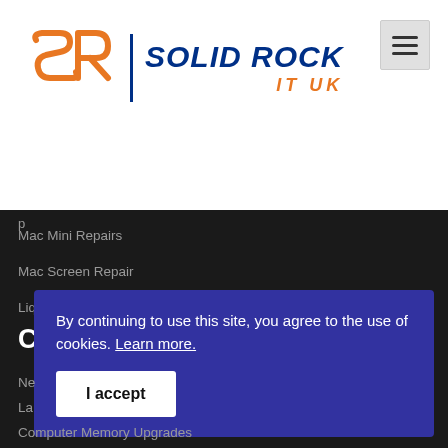[Figure (logo): Solid Rock IT UK logo with orange SR monogram and dark blue text]
Mac Mini Repairs
Mac Screen Repair
Liquid Damage Repairs
Computer Services
Ne...
La...
La...
Computer Memory Upgrades
By continuing to use this site, you agree to the use of cookies. Learn more.
I accept